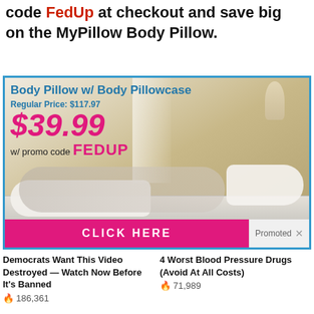code FedUp at checkout and save big on the MyPillow Body Pillow.
[Figure (advertisement): MyPillow Body Pillow advertisement with blue border. Shows a woman lying on a body pillow. Text overlay: 'Body Pillow w/ Body Pillowcase', 'Regular Price: $117.97', '$39.99 w/ promo code FEDUP'. Pink 'CLICK HERE' button at bottom with 'Promoted X' badge.]
[Figure (photo): Video thumbnail with play button showing two people (woman with dark hair, man with white hair and red tie) — 'Democrats Want This Video Destroyed — Watch Now Before It's Banned' with 186,361 engagements.]
Democrats Want This Video Destroyed — Watch Now Before It's Banned
186,361
[Figure (photo): Video thumbnail with play button showing a close-up of an open mouth with a blue pill on the tongue — '4 Worst Blood Pressure Drugs (Avoid At All Costs)' with 71,989 engagements.]
4 Worst Blood Pressure Drugs (Avoid At All Costs)
71,989